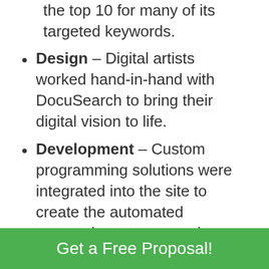the top 10 for many of its targeted keywords.
Design – Digital artists worked hand-in-hand with DocuSearch to bring their digital vision to life.
Development – Custom programming solutions were integrated into the site to create the automated transaction system, and WordPress web development integration improved SEO opportunities.
Contact 401-625-1550 for details
Get a Free Proposal!